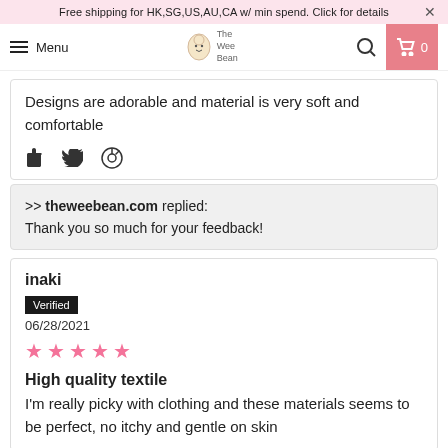Free shipping for HK,SG,US,AU,CA w/ min spend. Click for details
Menu | The Wee Bean
Designs are adorable and material is very soft and comfortable
>> theweebean.com replied: Thank you so much for your feedback!
inaki
Verified
06/28/2021
★★★★★
High quality textile
I'm really picky with clothing and these materials seems to be perfect, no itchy and gentle on skin